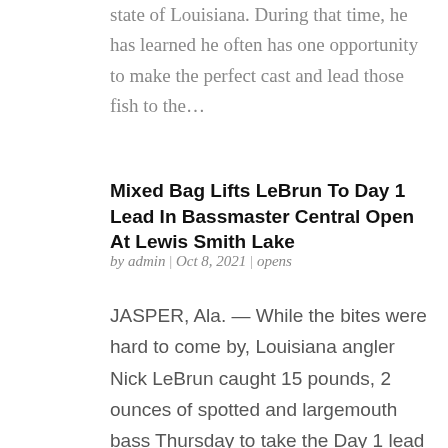state of Louisiana. During that time, he has learned he often has one opportunity to make the perfect cast and lead those fish to the…
Mixed Bag Lifts LeBrun To Day 1 Lead In Bassmaster Central Open At Lewis Smith Lake
by admin | Oct 8, 2021 | opens
JASPER, Ala. — While the bites were hard to come by, Louisiana angler Nick LeBrun caught 15 pounds, 2 ounces of spotted and largemouth bass Thursday to take the Day 1 lead of the 2021 Basspro.com Bassmaster Open at Lewis Smith Lake. After a practice filled with…